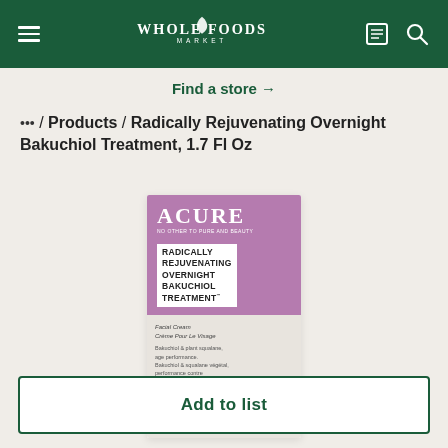Whole Foods Market
Find a store →
... / Products / Radically Rejuvenating Overnight Bakuchiol Treatment, 1.7 Fl Oz
[Figure (photo): Product photo of ACURE Radically Rejuvenating Overnight Bakuchiol Treatment, 1.7 Fl Oz box. Purple top half with white ACURE branding and product name in white box, lower half beige/gray with product details.]
Add to list